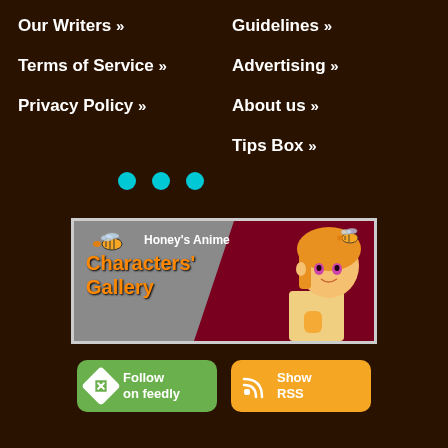Our Writers »
Guidelines »
Terms of Service »
Advertising »
Privacy Policy »
About us »
Tips Box »
[Figure (illustration): Three cyan dots (pagination or decoration indicator)]
[Figure (illustration): Honey's Anime Characters Gallery banner with anime girl and bees]
[Figure (illustration): Follow on feedly button (green) and Show RSS button (orange)]